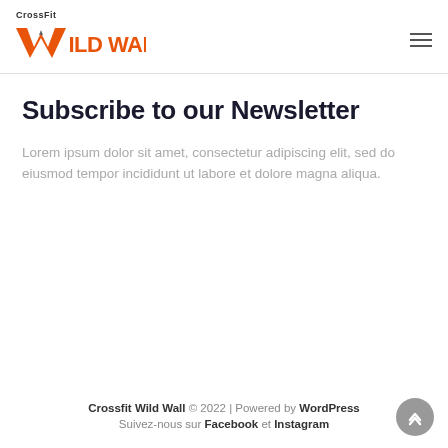[Figure (logo): CrossFit Wild Wall logo with orange W and text]
Subscribe to our Newsletter
Lorem ipsum dolor sit amet, consectetur adipiscing elit, sed do eiusmod tempor incididunt ut labore et dolore magna aliqua.
Crossfit Wild Wall © 2022 | Powered by WordPress
Suivez-nous sur Facebook et Instagram